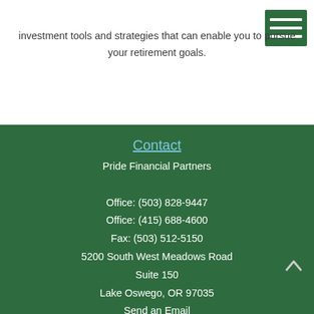investment tools and strategies that can enable you to pursue your retirement goals.
Contact
Pride Financial Partners
Office: (503) 828-9447
Office: (415) 688-4600
Fax: (503) 512-5150
5200 South West Meadows Road
Suite 150
Lake Oswego, OR 97035
Send an Email